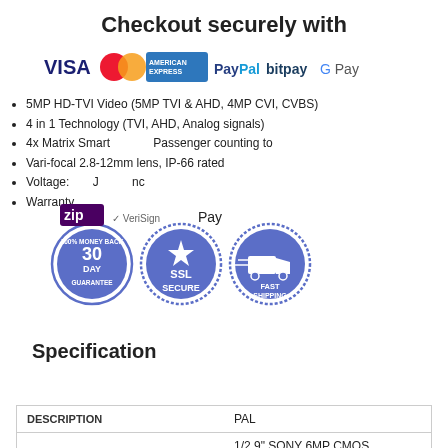Checkout securely with
[Figure (logo): Payment method logos: VISA, Mastercard, American Express, PayPal, bitpay, Google Pay, Zip, VeriSign, Apple Pay]
5MP HD-TVI Video (5MP TVI & AHD, 4MP CVI, CVBS)
4 in 1 Technology (TVI, AHD, Analog signals)
4x Matrix Smart Passenger counting to
Vari-focal 2.8-12mm lens, IP-66 rated
Voltage: J nc
Warranty
[Figure (infographic): Three trust badges: 30 Day 100% Money Back Guarantee, SSL Secure, Fast Shipping]
Specification
| DESCRIPTION | PAL |
| --- | --- |
|  | 1/2.9" SONY 6MP CMOS |